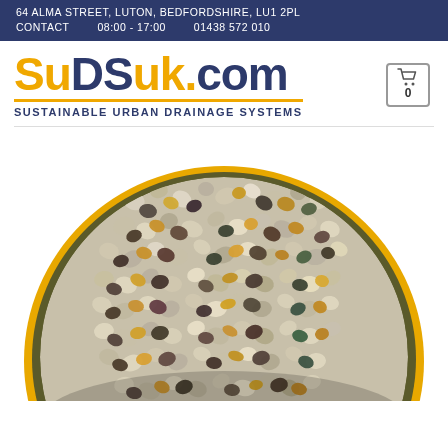64 ALMA STREET, LUTON, BEDFORDSHIRE, LU1 2PL
CONTACT   08:00 - 17:00   01438 572 010
SuDSuk.com
SUSTAINABLE URBAN DRAINAGE SYSTEMS
[Figure (photo): Close-up photo of mixed aggregate gravel/stone in a circular dish with a yellow rim, showing various sizes and colors of pebbles and stones used for drainage systems.]